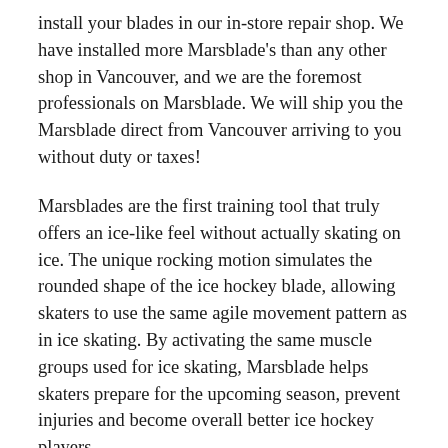install your blades in our in-store repair shop. We have installed more Marsblade's than any other shop in Vancouver, and we are the foremost professionals on Marsblade. We will ship you the Marsblade direct from Vancouver arriving to you without duty or taxes!
Marsblades are the first training tool that truly offers an ice-like feel without actually skating on ice. The unique rocking motion simulates the rounded shape of the ice hockey blade, allowing skaters to use the same agile movement pattern as in ice skating. By activating the same muscle groups used for ice skating, Marsblade helps skaters prepare for the upcoming season, prevent injuries and become overall better ice hockey players.
Marsblade's patented Flow Motion Technology is